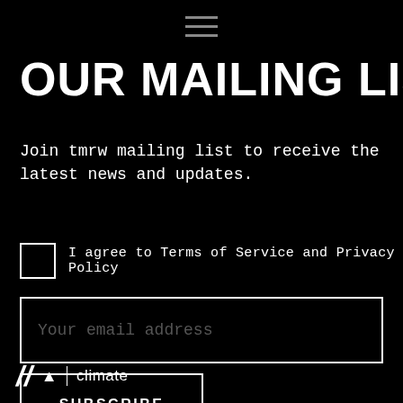OUR MAILING LIST
Join tmrw mailing list to receive the latest news and updates.
I agree to Terms of Service and Privacy Policy
Your email address
SUBSCRIBE
// ↑ | climate